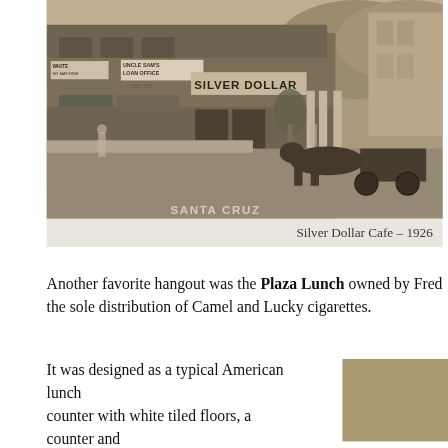[Figure (photo): Sepia-toned historical photograph from 1926 showing a street scene with buildings. Visible signage includes 'UNCLE SAM'S LOAN OFFICE', 'SILVER DOLLAR', 'WHITE [SEWING] MACHINE'. A horse-drawn carriage is visible on the right side. Trees and a fountain or plaza are in the background. Text at the bottom reads 'SANTA CRUZ'. People are visible on the street.]
Silver Dollar Cafe – 1926
Another favorite hangout was the Plaza Lunch owned by Fred the sole distribution of Camel and Lucky cigarettes.
It was designed as a typical American lunch counter with white tiled floors, a counter and stools reminiscent of any American lunch counter of the Thirties. Abold declared one of